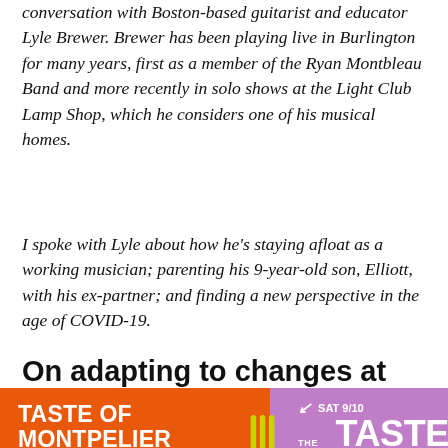conversation with Boston-based guitarist and educator Lyle Brewer. Brewer has been playing live in Burlington for many years, first as a member of the Ryan Montbleau Band and more recently in solo shows at the Light Club Lamp Shop, which he considers one of his musical homes.
I spoke with Lyle about how he's staying afloat as a working musician; parenting his 9-year-old son, Elliott, with his ex-partner; and finding a new perspective in the age of COVID-19.
On adapting to changes at home
[Figure (infographic): Advertisement banner for Taste of Montpelier Food Festival presented by Hunger Mountain Co-op. Orange left panel with white text showing event name and dates Friday September 9 – Sunday September 11. Purple right panel showing SAT 9/10 The Great TASTE - A Showcase of Montpelier Restaurants with a Learn More button. Yellow/green fork graphic in center.]